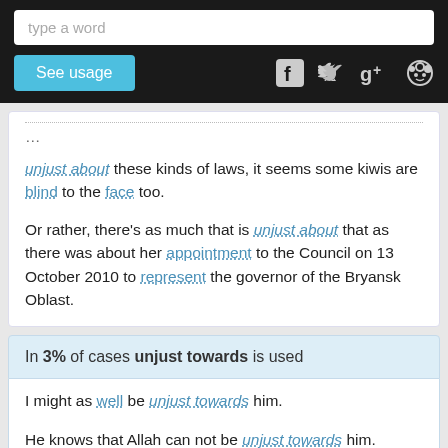type a word | See usage
unjust about these kinds of laws, it seems some kiwis are blind to the face too.
Or rather, there's as much that is unjust about that as there was about her appointment to the Council on 13 October 2010 to represent the governor of the Bryansk Oblast.
In 3% of cases unjust towards is used
I might as well be unjust towards him.
He knows that Allah can not be unjust towards him.
To fail to draw a distinction is unjust towards those who have